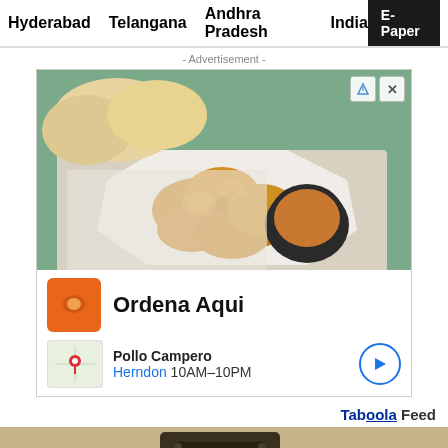Hyderabad  Telangana  Andhra Pradesh  India  E-Paper
- Advertisement -
[Figure (photo): Advertisement photo showing fried chicken nuggets on a white octagonal plate with a dipping sauce in a black bowl, with bread rolls in the background on a teal wooden surface]
Ordena Aqui
Pollo Campero
Herndon 10AM–10PM
Taboola Feed
[Figure (photo): Partial bottom image showing what appears to be vintage camera equipment on a sandy/textured background]